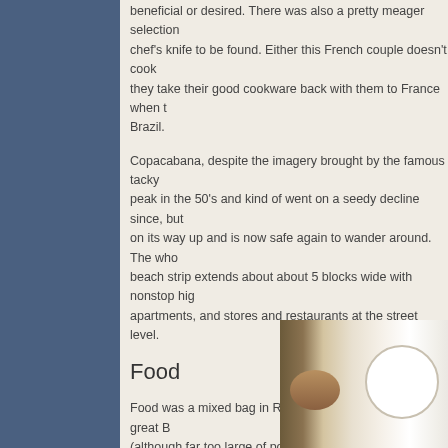beneficial or desired. There was also a pretty meager selection of... chef's knife to be found. Either this French couple doesn't cook... they take their good cookware back with them to France when... Brazil.
Copacabana, despite the imagery brought by the famous tacky... peak in the 50's and kind of went on a seedy decline since, but... on its way up and is now safe again to wander around. The who... beach strip extends about about 5 blocks wide with nonstop hig... apartments, and stores and restaurants at the street level.
Food
Food was a mixed bag in Rio de Janeiro. We had some great B... (although far too large of portions) in an old, hilly part of town ca... We probably finished about 1/3rd of it.
[Figure (photo): Photo of food dishes on a table, showing a white plate and bowls with food]